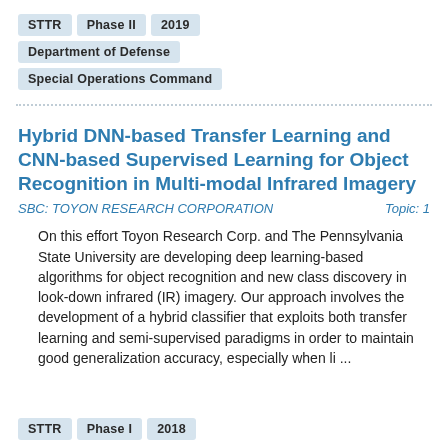STTR   Phase II   2019
Department of Defense
Special Operations Command
Hybrid DNN-based Transfer Learning and CNN-based Supervised Learning for Object Recognition in Multi-modal Infrared Imagery
SBC: TOYON RESEARCH CORPORATION        Topic: 1
On this effort Toyon Research Corp. and The Pennsylvania State University are developing deep learning-based algorithms for object recognition and new class discovery in look-down infrared (IR) imagery. Our approach involves the development of a hybrid classifier that exploits both transfer learning and semi-supervised paradigms in order to maintain good generalization accuracy, especially when li ...
STTR   Phase I   2018